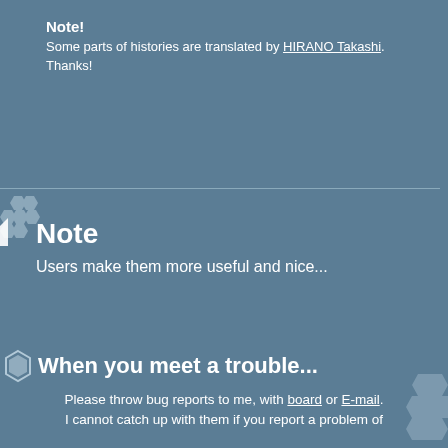Note! Some parts of histories are translated by HIRANO Takashi. Thanks!
Note
Users make them more useful and nice...
When you meet a trouble...
Please throw bug reports to me, with board or E-mail. I cannot catch up with them if you report a problem of